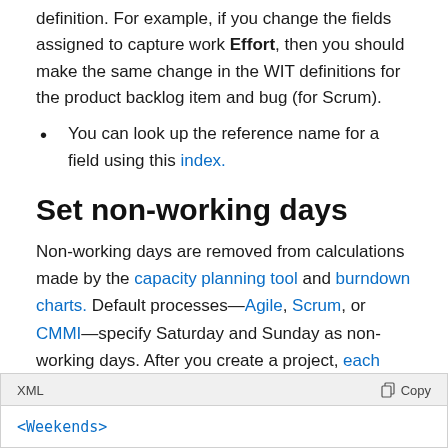definition. For example, if you change the fields assigned to capture work Effort, then you should make the same change in the WIT definitions for the product backlog item and bug (for Scrum).
You can look up the reference name for a field using this index.
Set non-working days
Non-working days are removed from calculations made by the capacity planning tool and burndown charts. Default processes—Agile, Scrum, or CMMI—specify Saturday and Sunday as non-working days. After you create a project, each team can set their specific non-working days.
<Weekends>